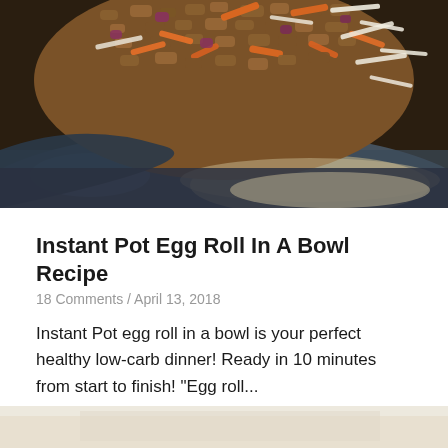[Figure (photo): Close-up photo of a stir-fried egg roll in a bowl dish with ground meat, shredded cabbage, carrots, and red onion in a dark pan]
Instant Pot Egg Roll In A Bowl Recipe
18 Comments / April 13, 2018
Instant Pot egg roll in a bowl is your perfect healthy low-carb dinner! Ready in 10 minutes from start to finish! "Egg roll...
[Figure (photo): Partially visible food photo at the bottom of the page, appears light colored]